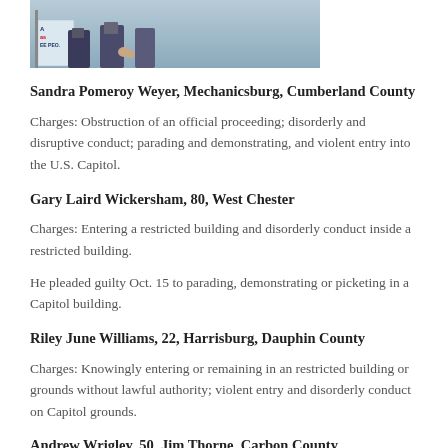[Figure (photo): Photograph showing people at a protest or rally, partially cropped. A sign is visible on the left side with partial text 'as EE PEO.' People's lower bodies and legs are visible.]
Sandra Pomeroy Weyer, Mechanicsburg, Cumberland County
Charges: Obstruction of an official proceeding; disorderly and disruptive conduct; parading and demonstrating, and violent entry into the U.S. Capitol.
Gary Laird Wickersham, 80, West Chester
Charges: Entering a restricted building and disorderly conduct inside a restricted building.
He pleaded guilty Oct. 15 to parading, demonstrating or picketing in a Capitol building.
Riley June Williams, 22, Harrisburg, Dauphin County
Charges: Knowingly entering or remaining in an restricted building or grounds without lawful authority; violent entry and disorderly conduct on Capitol grounds.
Andrew Wrigley, 50, Jim Thorne, Carbon County